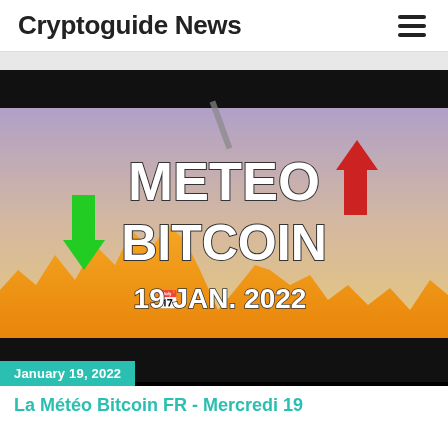Cryptoguide News
[Figure (screenshot): Thumbnail image for Bitcoin weather forecast video dated 19 JAN. 2022, showing 'METEO BITCOIN' text with green up arrow and red down arrow on financial chart background with orange peaks]
January 19, 2022
La Météo Bitcoin FR - Mercredi 19